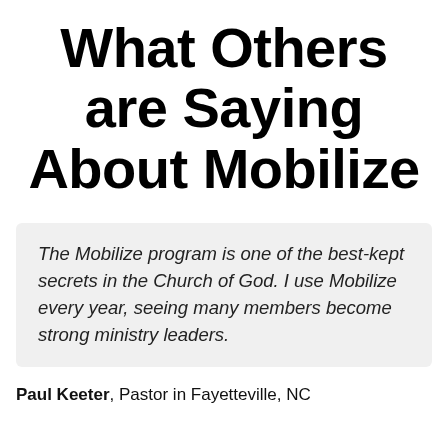What Others are Saying About Mobilize
The Mobilize program is one of the best-kept secrets in the Church of God. I use Mobilize every year, seeing many members become strong ministry leaders.
Paul Keeter, Pastor in Fayetteville, NC